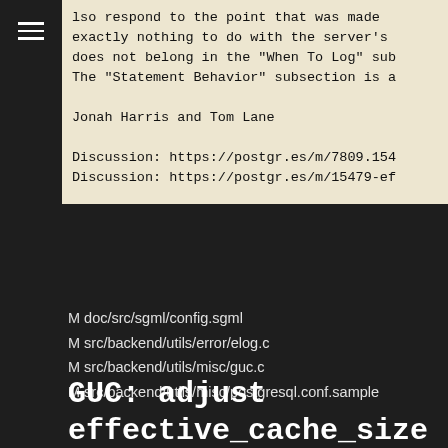lso respond to the point that was made
exactly nothing to do with the server's
does not belong in the "When To Log" sub
The "Statement Behavior" subsection is a

Jonah Harris and Tom Lane

Discussion: https://postgr.es/m/7809.154
Discussion: https://postgr.es/m/15479-ef
M doc/src/sgml/config.sgml
M src/backend/utils/error/elog.c
M src/backend/utils/misc/guc.c
M src/backend/utils/misc/postgresql.conf.sample
GUC: adjust
effective_cache_size SQL
descriptions